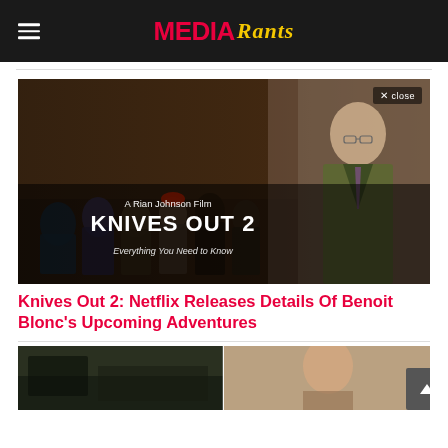Media Rants
[Figure (screenshot): Movie promotional image for Knives Out 2 — A Rian Johnson Film: KNIVES OUT 2, Everything You Need to Know. Shows a large ensemble cast with Daniel Craig prominently on the right in a suit.]
Knives Out 2: Netflix Releases Details Of Benoit Blonc's Upcoming Adventures
[Figure (photo): Bottom of page showing a partial view of a second article's thumbnail image, split into two panels.]